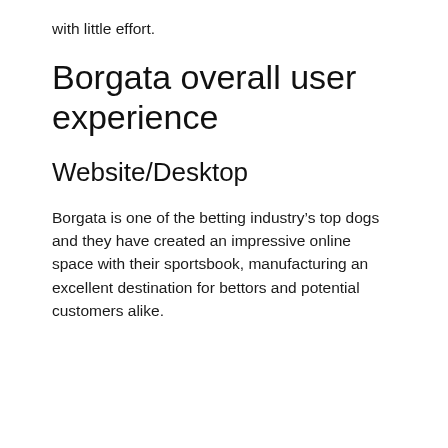with little effort.
Borgata overall user experience
Website/Desktop
Borgata is one of the betting industry’s top dogs and they have created an impressive online space with their sportsbook, manufacturing an excellent destination for bettors and potential customers alike.